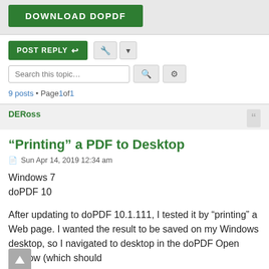[Figure (other): Green DOWNLOAD DOPDF button on grey banner]
[Figure (other): POST REPLY button with reply arrow icon, tool/wrench button, dropdown button]
[Figure (other): Search this topic... input box with magnifier icon and gear settings icon]
9 posts • Page 1 of 1
DERoss
"Printing" a PDF to Desktop
Sun Apr 14, 2019 12:34 am
Windows 7
doPDF 10
After updating to doPDF 10.1.111, I tested it by "printing" a Web page. I wanted the result to be saved on my Windows desktop, so I navigated to desktop in the doPDF Open window (which should